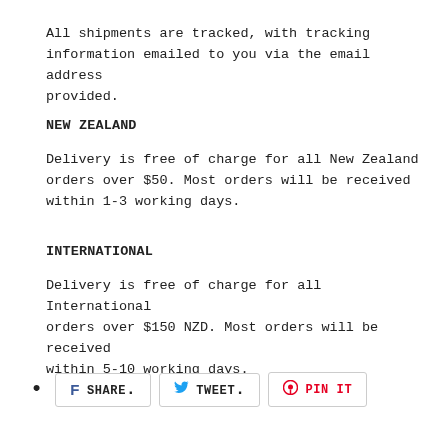All shipments are tracked, with tracking information emailed to you via the email address provided.
NEW ZEALAND
Delivery is free of charge for all New Zealand orders over $50. Most orders will be received within 1-3 working days.
INTERNATIONAL
Delivery is free of charge for all International orders over $150 NZD. Most orders will be received within 5-10 working days.
• SHARE. TWEET. PIN IT